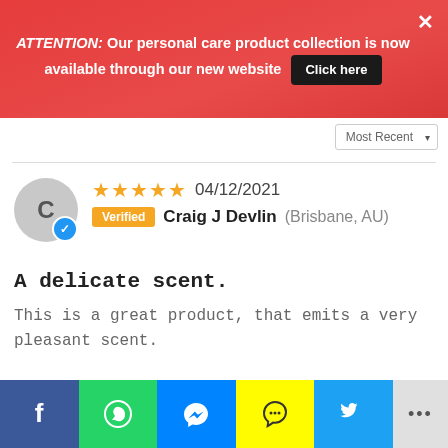ATTENTION: Our personal care product collection is now available through our new website  Click here
Most Recent
[Figure (other): Horizontal divider line]
[Figure (other): Reviewer avatar circle with letter C and blue verified checkmark badge]
★★★★★  04/12/2021
Verified  Craig J Devlin  (Brisbane, AU)
A delicate scent.
This is a great product, that emits a very pleasant scent.
Facebook | WhatsApp | Messenger | Snapchat | Twitter | More